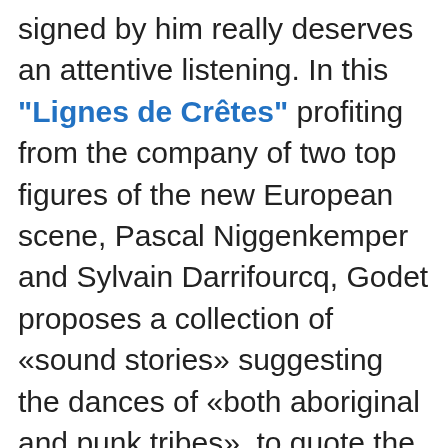signed by him really deserves an attentive listening. In this "Lignes de Crêtes" profiting from the company of two top figures of the new European scene, Pascal Niggenkemper and Sylvain Darrifourcq, Godet proposes a collection of «sound stories» suggesting the dances of «both aboriginal and punk tribes», to quote the liner notes. The trio in this record is the confluence of two of Godet's projects, one his duo with drummer Darrifourcq, the other his Mujô Quartet, from which comes Niggenkemper and his double bass. This results in a musical formula which